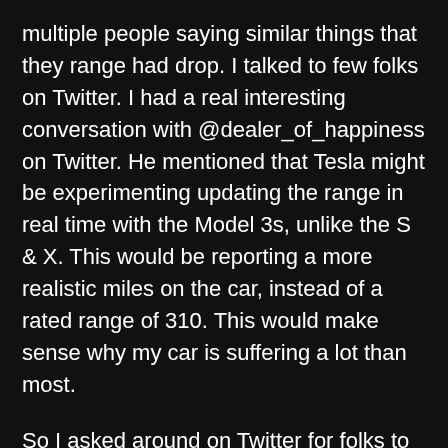multiple people saying similar things that they range had drop. I talked to few folks on Twitter. I had a real interesting conversation with @dealer_of_happiness on Twitter. He mentioned that Tesla might be experimenting updating the range in real time with the Model 3s, unlike the S & X. This would be reporting a more realistic miles on the car, instead of a rated range of 310. This would make sense why my car is suffering a lot than most.
So I asked around on Twitter for folks to help provide me some data. Granted, this is very small sample size, but wanted to see if there's a pattern out there. They'd share something like...